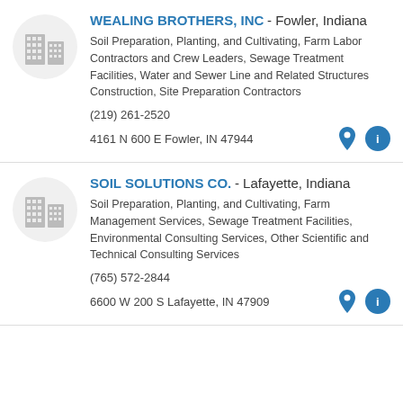WEALING BROTHERS, INC - Fowler, Indiana
Soil Preparation, Planting, and Cultivating, Farm Labor Contractors and Crew Leaders, Sewage Treatment Facilities, Water and Sewer Line and Related Structures Construction, Site Preparation Contractors
(219) 261-2520
4161 N 600 E Fowler, IN 47944
SOIL SOLUTIONS CO. - Lafayette, Indiana
Soil Preparation, Planting, and Cultivating, Farm Management Services, Sewage Treatment Facilities, Environmental Consulting Services, Other Scientific and Technical Consulting Services
(765) 572-2844
6600 W 200 S Lafayette, IN 47909